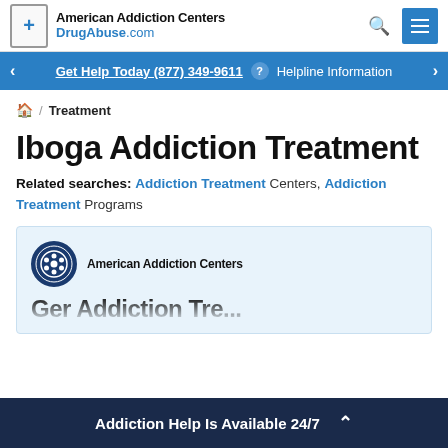American Addiction Centers DrugAbuse.com
Get Help Today (877) 349-9611 ? Helpline Information
🏠 / Treatment
Iboga Addiction Treatment
Related searches: Addiction Treatment Centers, Addiction Treatment Programs
[Figure (logo): American Addiction Centers logo with circular emblem]
Addiction Help Is Available 24/7